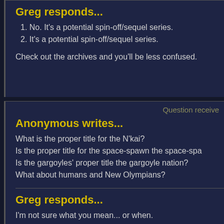Greg responds...
1. No. It's a potential spin-off/sequel series.
2. It's a potential spin-off/sequel series.
Check out the archives and you'll be less confused.
Question receive
Anonymous writes...
What is the proper title for the N'kai?
Is the proper title for the space-spawn the space-spa
Is the gargoyles' proper title the gargoyle nation?
What about humans and New Olympians?
Greg responds...
I'm not sure what you mean... or when.